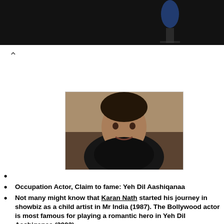[Figure (screenshot): Advertisement banner showing text 'Download Helbiz and ride' with dark background and microphone visible]
[Figure (photo): Photo of Karan Nath, a Bollywood actor, wearing a black leather jacket, seated indoors]
Occupation Actor, Claim to fame: Yeh Dil Aashiqanaa
Not many might know that Karan Nath started his journey in showbiz as a child artist in Mr India (1987). The Bollywood actor is most famous for playing a romantic hero in Yeh Dil Aashiqanaa (2002).
Karan has been a part of films such as Paagalpan, Sssshhh..., LOC Kargil, Tum - A Dangerous Obsession, and Tera Kya Hoga Johnny. He was last seen in Guns of Banaras as Guddu.
Karan Nath Girl friend, Wife, Family:
[Figure (photo): Bottom photo of a person, partially visible]